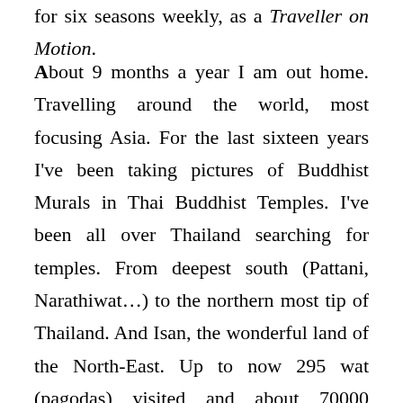for six seasons weekly, as a Traveller on Motion.
About 9 months a year I am out home. Travelling around the world, most focusing Asia. For the last sixteen years I've been taking pictures of Buddhist Murals in Thai Buddhist Temples. I've been all over Thailand searching for temples. From deepest south (Pattani, Narathiwat…) to the northern most tip of Thailand. And Isan, the wonderful land of the North-East. Up to now 295 wat (pagodas) visited and about 70000 pictures taked from them. Some of the pagodas are in very remote areas. I discovered real treasures, both in the walls and in the heart of people. I believe some of these precious murals were never photographed before. At present (2022) I'm still searching for old